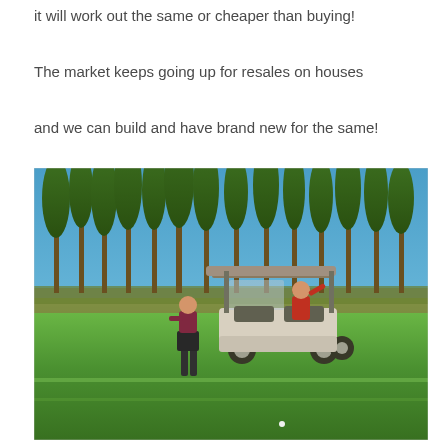it will work out the same or cheaper than buying!
The market keeps going up for resales on houses
and we can build and have brand new for the same!
[Figure (photo): Two people on a golf course fairway next to a white golf cart. Tall pine trees line the background under a clear blue sky. One person wearing a dark skirt stands beside the cart while another sits in the cart wearing a red shirt.]